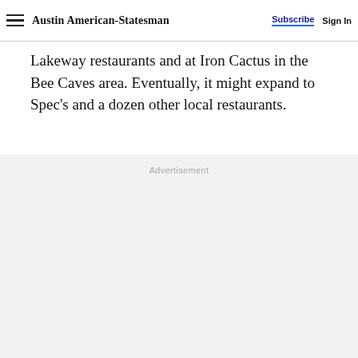Austin American-Statesman | Subscribe | Sign In
Lakeway restaurants and at Iron Cactus in the Bee Caves area. Eventually, it might expand to Spec’s and a dozen other local restaurants.
Advertisement